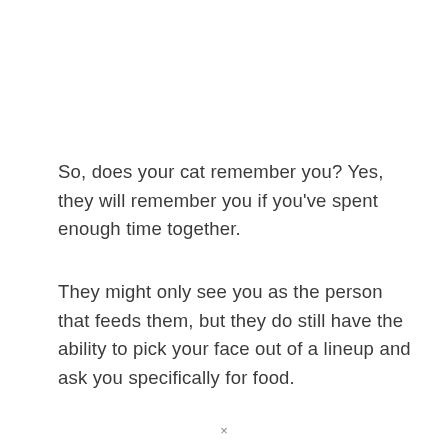So, does your cat remember you? Yes, they will remember you if you've spent enough time together.
They might only see you as the person that feeds them, but they do still have the ability to pick your face out of a lineup and ask you specifically for food.
×